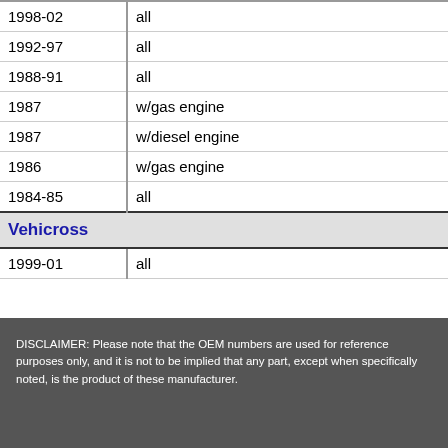| Year | Description |
| --- | --- |
| 1998-02 | all |
| 1992-97 | all |
| 1988-91 | all |
| 1987 | w/gas engine |
| 1987 | w/diesel engine |
| 1986 | w/gas engine |
| 1984-85 | all |
| Vehicross |  |
| 1999-01 | all |
DISCLAIMER: Please note that the OEM numbers are used for reference purposes only, and it is not to be implied that any part, except when specifically noted, is the product of these manufacturer.